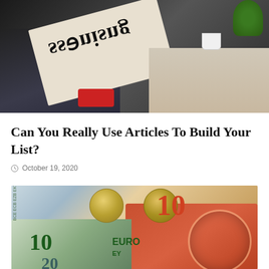[Figure (photo): A person in a business suit reading a newspaper with 'Business' visible on the front page, sitting near a desk with a coffee cup, documents, and a green plant]
Can You Really Use Articles To Build Your List?
October 19, 2020
[Figure (photo): Euro banknotes (10 euro notes) and coins spread out on a surface, showing 'BCE ECB' text, '10', 'EURO' and 'EY' text on the notes]